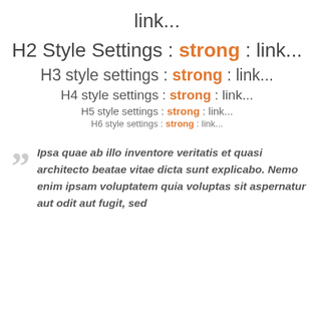link...
H2 Style Settings : strong : link...
H3 style settings : strong : link...
H4 style settings : strong : link...
H5 style settings : strong : link...
H6 style settings : strong : link...
Ipsa quae ab illo inventore veritatis et quasi architecto beatae vitae dicta sunt explicabo. Nemo enim ipsam voluptatem quia voluptas sit aspernatur aut odit aut fugit, sed